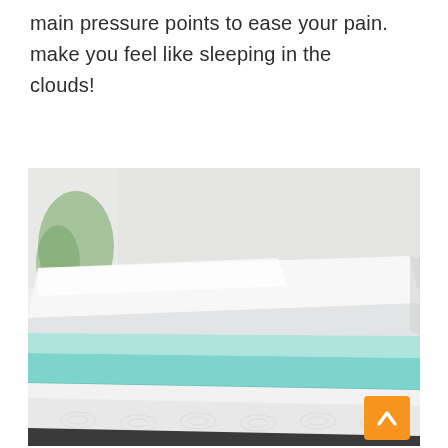main pressure points to ease your pain. make you feel like sleeping in the clouds!
[Figure (photo): Product photo of a mattress topper shown in exploded/layered view. From top to bottom: a white fabric cover layer (with a pillow visible in background), a teal/aqua gel memory foam layer, a white quilted mattress layer with swirl pattern, and a dark base layer at the bottom. An orange scroll-to-top button with a white up-arrow chevron is visible in the bottom-right corner of the image.]